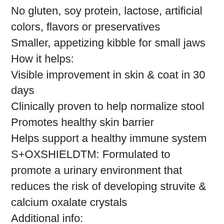No gluten, soy protein, lactose, artificial colors, flavors or preservatives
Smaller, appetizing kibble for small jaws
How it helps:
Visible improvement in skin & coat in 30 days
Clinically proven to help normalize stool
Promotes healthy skin barrier
Helps support a healthy immune system
S+OXSHIELDTM: Formulated to promote a urinary environment that reduces the risk of developing struvite & calcium oxalate crystals
Additional info:
Hill's® Prescription Diet® z/d® Canine Small Bites is a complete and balanced food that provides all the nutrition your dog needs. Please consult your veterinarian for further information on how our Prescription Diet® foods can help your dog to continue to enjoy a happy and active life.
INGREDIENTS: Corn Starch, Hydrolyzed Chicken Liver,